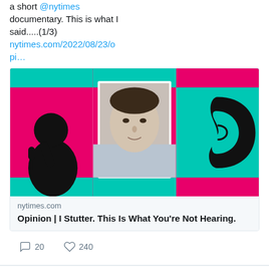a short @nytimes documentary. This is what I said.....(1/3) nytimes.com/2022/08/23/opi…
[Figure (photo): NYT article thumbnail showing colorful panels: left panel (red/magenta) with black silhouette of person speaking into microphone, center panel showing a young man's face, right panel (teal/cyan) with drawing of an ear]
nytimes.com
Opinion | I Stutter. This Is What You're Not Hearing.
20 replies  240 likes
Sounding Out! Retweeted
My Uncle... @s... · 38m